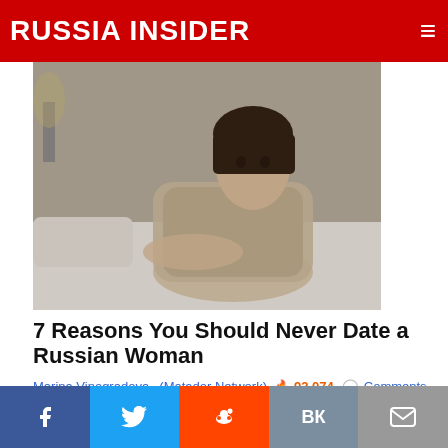RUSSIA INSIDER
[Figure (photo): Young woman lying on a bed posing for a glamour-style photo, black and white toned image]
7 Reasons You Should Never Date a Russian Woman
Marina Vinogradova  (Matador Network)  🔥 92,074  💬 Comments
[Figure (photo): Older blonde woman sitting on an ornate sofa in a wood-paneled room with lamps and a portrait painting on the wall behind her]